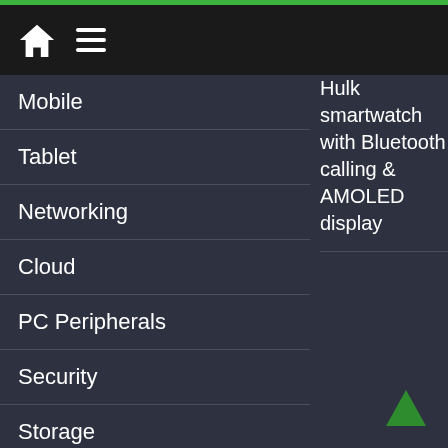Navigation header with home and menu icons
Mobile
Tablet
Networking
Cloud
PC Peripherals
Security
Storage
Video
About Us
Contact Us
Privacy
Hulk smartwatch with Bluetooth calling & AMOLED display